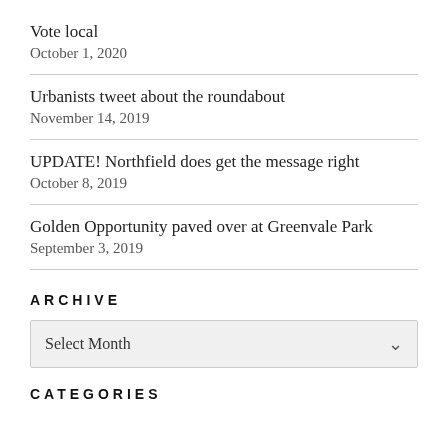Vote local
October 1, 2020
Urbanists tweet about the roundabout
November 14, 2019
UPDATE! Northfield does get the message right
October 8, 2019
Golden Opportunity paved over at Greenvale Park
September 3, 2019
ARCHIVE
Select Month
CATEGORIES